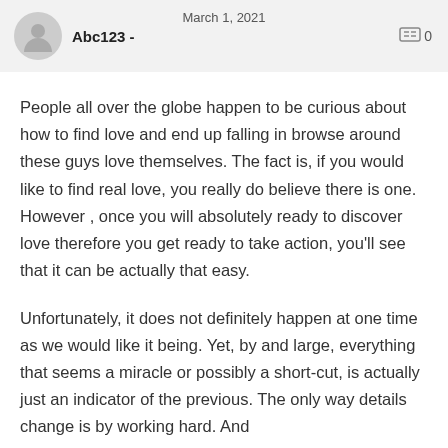March 1, 2021 — Abc123 - [comment icon] 0
People all over the globe happen to be curious about how to find love and end up falling in browse around these guys love themselves. The fact is, if you would like to find real love, you really do believe there is one. However , once you will absolutely ready to discover love therefore you get ready to take action, you'll see that it can be actually that easy.
Unfortunately, it does not definitely happen at one time as we would like it being. Yet, by and large, everything that seems a miracle or possibly a short-cut, is actually just an indicator of the previous. The only way details change is by working hard. And